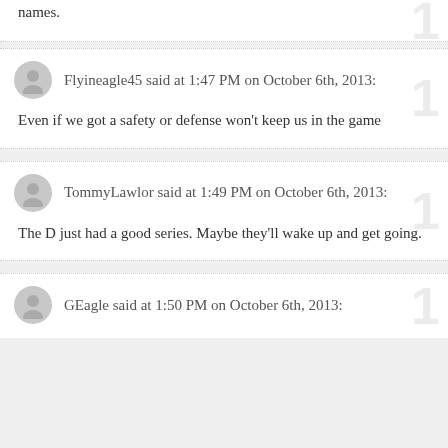names.
Flyineagle45 said at 1:47 PM on October 6th, 2013:
Even if we got a safety or defense won't keep us in the game
TommyLawlor said at 1:49 PM on October 6th, 2013:
The D just had a good series. Maybe they'll wake up and get going.
GEagle said at 1:50 PM on October 6th, 2013: